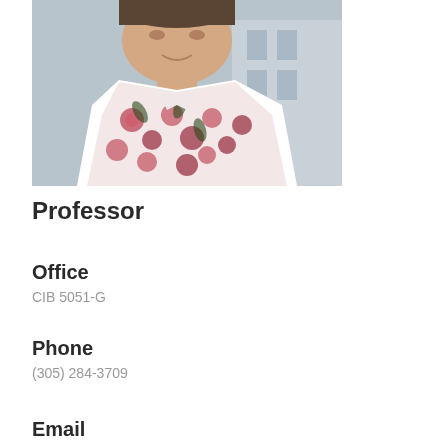[Figure (photo): A man wearing a pink/red floral Hawaiian shirt, photographed outdoors, cropped to show head and upper body.]
Professor
Office
CIB 5051-G
Phone
(305) 284-3709
Email